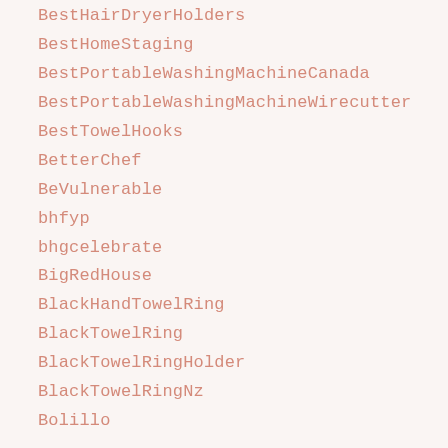BestHairDryerHolders
BestHomeStaging
BestPortableWashingMachineCanada
BestPortableWashingMachineWirecutter
BestTowelHooks
BetterChef
BeVulnerable
bhfyp
bhgcelebrate
BigRedHouse
BlackHandTowelRing
BlackTowelRing
BlackTowelRingHolder
BlackTowelRingNz
Bolillo